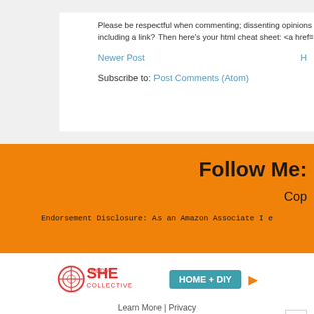Please be respectful when commenting; dissenting opinions are gre including a link? Then here's your html cheat sheet: <a href="LINK A
Newer Post
Subscribe to: Post Comments (Atom)
Follow Me:
Cop
Endorsement Disclosure: As an Amazon Associate I e
[Figure (logo): SHE Media Collective HOME + DIY badge with play button]
Learn More | Privacy
[Figure (infographic): SHE Media Partner Network banner: We help content creators grow businesses through... Become a Member. Learn More button.]